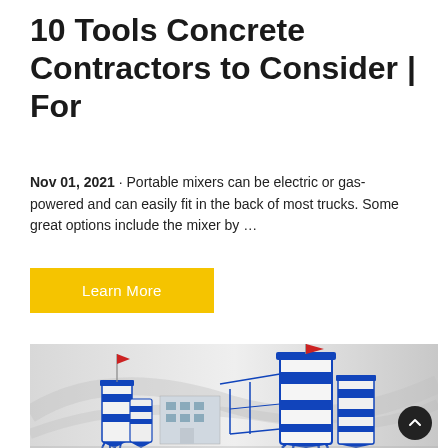10 Tools Concrete Contractors to Consider | For
Nov 01, 2021 · Portable mixers can be electric or gas-powered and can easily fit in the back of most trucks. Some great options include the mixer by …
Learn More
[Figure (photo): Industrial concrete batching plant with large blue and white cylindrical silos topped with red flags, blue steel framework, and a multi-story industrial building, against a light grey background.]